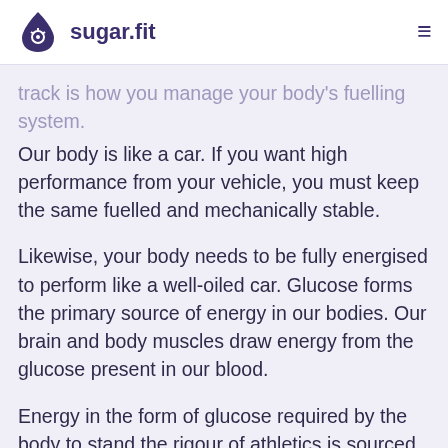sugar.fit
track is how you manage your body’s fuelling system. Our body is like a car. If you want high performance from your vehicle, you must keep the same fuelled and mechanically stable.
Likewise, your body needs to be fully energised to perform like a well-oiled car. Glucose forms the primary source of energy in our bodies. Our brain and body muscles draw energy from the glucose present in our blood.
Energy in the form of glucose required by the body to stand the rigour of athletics is sourced from a balanced diet plan. A balanced diet plan needs to include protein, fat and carbs at optimum levels. As an athlete, you need to be conscious of your blood sugar